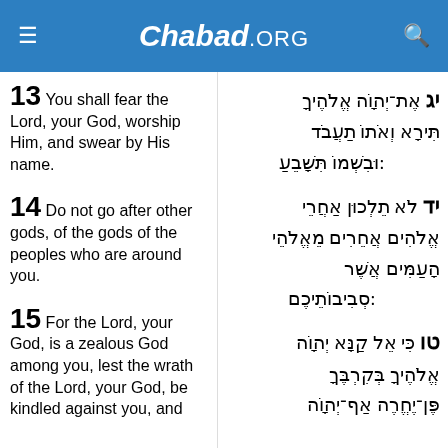Chabad.ORG
13 You shall fear the Lord, your God, worship Him, and swear by His name.
יג אֶת־יְהוָֹה אֱלֹהֶיךָ תִּירָא וְאֹתוֹ תַעֲבֹד וּבִשְׁמוֹ תִּשָּׁבֵעַ:
14 Do not go after other gods, of the gods of the peoples who are around you.
יד לֹא תֵלְכוּן אַחֲרֵי אֱלֹהִים אֲחֵרִים מֵאֱלֹהֵי הָעַמִּים אֲשֶׁר סְבִיבוֹתֵיכֶם:
15 For the Lord, your God, is a zealous God among you, lest the wrath of the Lord, your God, be kindled against you, and
טו כִּי אֵל קַנָּא יְהוָֹה אֱלֹהֶיךָ בְּקִרְבֶּךָ פֶּן־יֶחֱרֶה אַף־יְהוָֹה